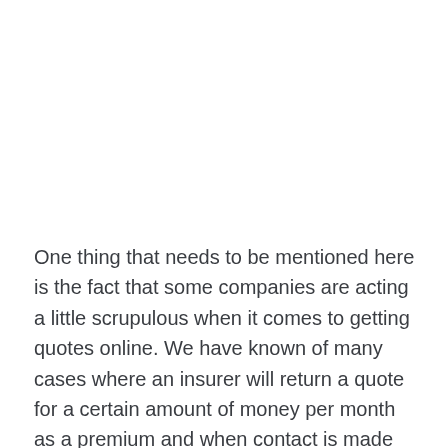One thing that needs to be mentioned here is the fact that some companies are acting a little scrupulous when it comes to getting quotes online. We have known of many cases where an insurer will return a quote for a certain amount of money per month as a premium and when contact is made between the company and the client excuses are made and the premium is suddenly increased! Be careful with that kind of situation when getting car insurance quotes and information on the Internet.